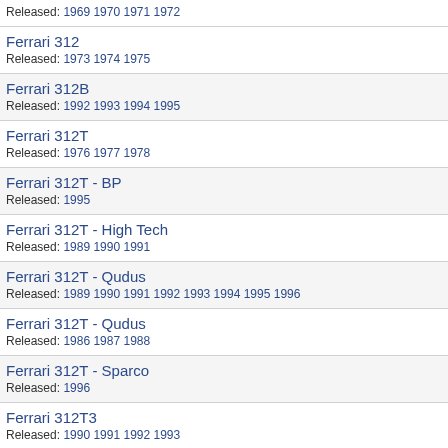Released: 1969 1970 1971 1972
Ferrari 312
Released: 1973 1974 1975
Ferrari 312B
Released: 1992 1993 1994 1995
Ferrari 312T
Released: 1976 1977 1978
Ferrari 312T - BP
Released: 1995
Ferrari 312T - High Tech
Released: 1989 1990 1991
Ferrari 312T - Qudus
Released: 1989 1990 1991 1992 1993 1994 1995 1996
Ferrari 312T - Qudus
Released: 1986 1987 1988
Ferrari 312T - Sparco
Released: 1996
Ferrari 312T3
Released: 1990 1991 1992 1993
Ferrari 312T3
Released: 1979 1980 1981 1982
Ferrari 643
Released: 1995
Ferrari 643